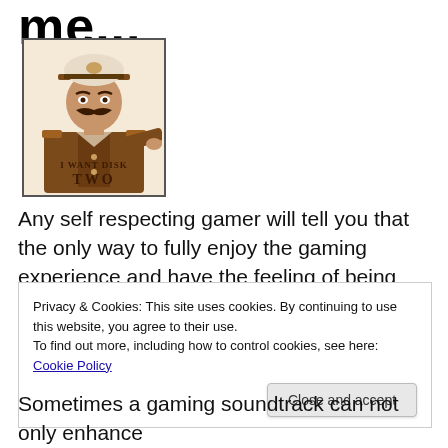me...
[Figure (illustration): Parody of the Lord Kitchener 'I Want You' recruitment poster, showing a military officer with a large mustache and white cap pointing at the viewer, with text reading 'I WANT DISK TWO']
Any self respecting gamer will tell you that the only way to fully enjoy the gaming experience and have the feeling of being completely immersed in a game is to wear headphones. Not only will it give you the edge in games
Privacy & Cookies: This site uses cookies. By continuing to use this website, you agree to their use.
To find out more, including how to control cookies, see here: Cookie Policy
[Close and accept]
Sometimes a gaming soundtrack can not only enhance